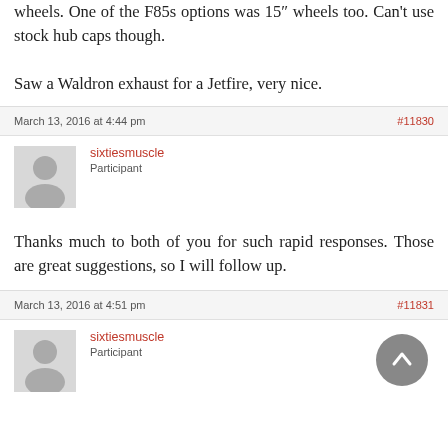wheels. One of the F85s options was 15″ wheels too. Can't use stock hub caps though.

Saw a Waldron exhaust for a Jetfire, very nice.
March 13, 2016 at 4:44 pm
#11830
sixtiesmuscle
Participant
Thanks much to both of you for such rapid responses. Those are great suggestions, so I will follow up.
March 13, 2016 at 4:51 pm
#11831
sixtiesmuscle
Participant